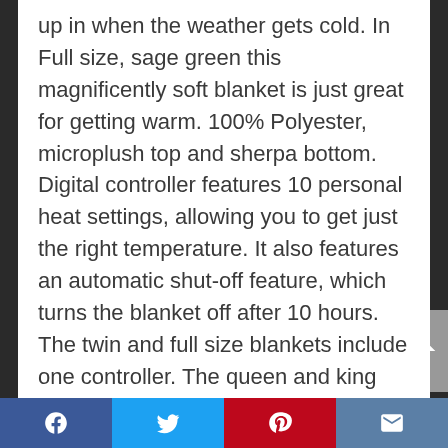up in when the weather gets cold. In Full size, sage green this magnificently soft blanket is just great for getting warm. 100% Polyester, microplush top and sherpa bottom. Digital controller features 10 personal heat settings, allowing you to get just the right temperature. It also features an automatic shut-off feature, which turns the blanket off after 10 hours. The twin and full size blankets include one controller. The queen and king size blankets include two controllers. Machine washable for your convenience. Five year manufacturer's warranty.
Social share bar: Facebook, Twitter, Pinterest, Email